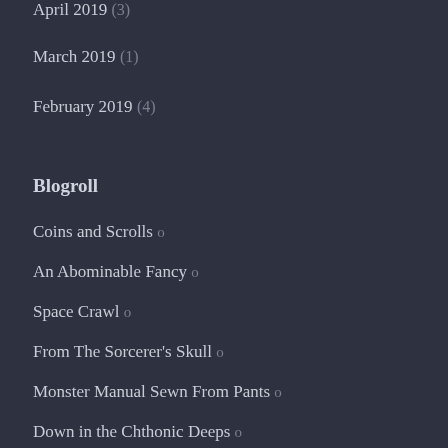April 2019 (3)
March 2019 (1)
February 2019 (4)
Blogroll
Coins and Scrolls o
An Abominable Fancy o
Space Crawl o
From The Sorcerer's Skull o
Monster Manual Sewn From Pants o
Down in the Chthonic Deeps o
Wondrous Adventure o
The Graverobber's Guide o
Rigour and Reverie o